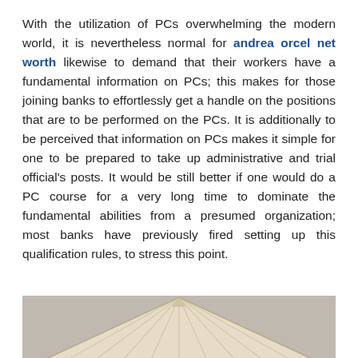With the utilization of PCs overwhelming the modern world, it is nevertheless normal for andrea orcel net worth likewise to demand that their workers have a fundamental information on PCs; this makes for those joining banks to effortlessly get a handle on the positions that are to be performed on the PCs. It is additionally to be perceived that information on PCs makes it simple for one to be prepared to take up administrative and trial official's posts. It would be still better if one would do a PC course for a very long time to dominate the fundamental abilities from a presumed organization; most banks have previously fired setting up this qualification rules, to stress this point.
[Figure (photo): A photo showing the top of a wooden house roof structure with triangular shape, light beige/cream colored wood, against a light gray background.]